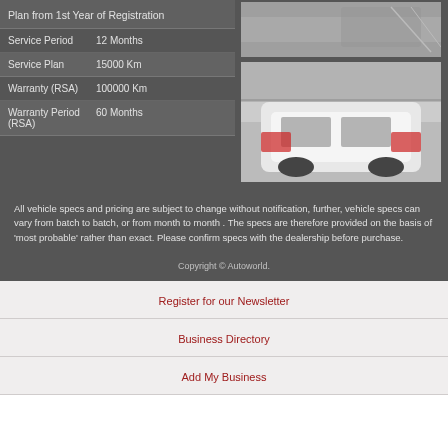|  |  |
| --- | --- |
| Plan from 1st Year of Registration |  |
| Service Period | 12 Months |
| Service Plan | 15000 Km |
| Warranty (RSA) | 100000 Km |
| Warranty Period (RSA) | 60 Months |
[Figure (photo): Close-up photo of rear of car (top right)]
[Figure (photo): White Audi SUV rear view in showroom (bottom right)]
All vehicle specs and pricing are subject to change without notification, further, vehicle specs can vary from batch to batch, or from month to month . The specs are therefore provided on the basis of 'most probable' rather than exact. Please confirm specs with the dealership before purchase.
Copyright © Autoworld.
Register for our Newsletter
Business Directory
Add My Business